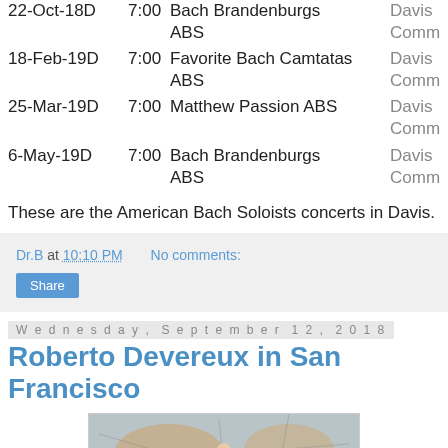| Date | Time | Program | Venue |
| --- | --- | --- | --- |
| 22-Oct-18D | 7:00 | Bach Brandenburgs ABS | Davis Comm |
| 18-Feb-19D | 7:00 | Favorite Bach Camtatas ABS | Davis Comm |
| 25-Mar-19D | 7:00 | Matthew Passion ABS | Davis Comm |
| 6-May-19D | 7:00 | Bach Brandenburgs ABS | Davis Comm |
These are the American Bach Soloists concerts in Davis.
Dr.B at 10:10 PM   No comments:   Share
Wednesday, September 12, 2018
Roberto Devereux in San Francisco
[Figure (photo): Photo of a performer in a red dress on a stage backdrop depicting a map]